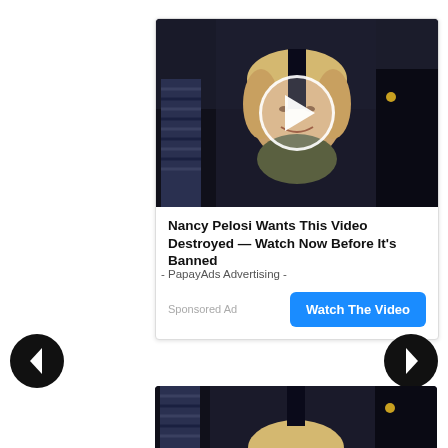[Figure (screenshot): Advertisement card showing a video thumbnail with a person (appearing to be Hillary Clinton) surrounded by people in dark clothing. A white circular play button overlay is centered on the image. Below the image is bold headline text, a 'Sponsored Ad' label, and a blue 'Watch The Video' button.]
- PapayAds Advertising -
[Figure (other): Left navigation arrow (black circle with white left-pointing chevron)]
[Figure (other): Right navigation arrow (black circle with white right-pointing chevron)]
[Figure (photo): Partial view of a second similar advertisement card showing the top portion of another photo at the bottom of the page.]